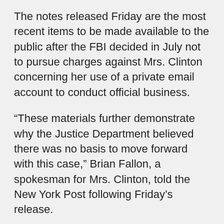The notes released Friday are the most recent items to be made available to the public after the FBI decided in July not to pursue charges against Mrs. Clinton concerning her use of a private email account to conduct official business.
“These materials further demonstrate why the Justice Department believed there was no basis to move forward with this case,” Brian Fallon, a spokesman for Mrs. Clinton, told the New York Post following Friday’s release.
• Andrew Blake can be reached at ablake@washingtontimes.com.
Copyright © 2022 The Washington Times, LLC